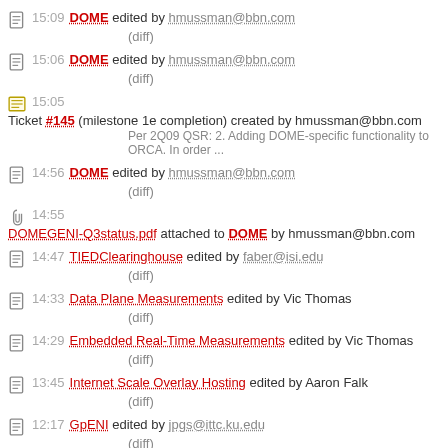15:09 DOME edited by hmussman@bbn.com (diff)
15:06 DOME edited by hmussman@bbn.com (diff)
15:05 Ticket #145 (milestone 1e completion) created by hmussman@bbn.com Per 2Q09 QSR: 2. Adding DOME-specific functionality to ORCA. In order ...
14:56 DOME edited by hmussman@bbn.com (diff)
14:55 DOMEGENI-Q3status.pdf attached to DOME by hmussman@bbn.com
14:47 TIEDClearinghouse edited by faber@isi.edu (diff)
14:33 Data Plane Measurements edited by Vic Thomas (diff)
14:29 Embedded Real-Time Measurements edited by Vic Thomas (diff)
13:45 Internet Scale Overlay Hosting edited by Aaron Falk (diff)
12:17 GpENI edited by jpgs@ittc.ku.edu (diff)